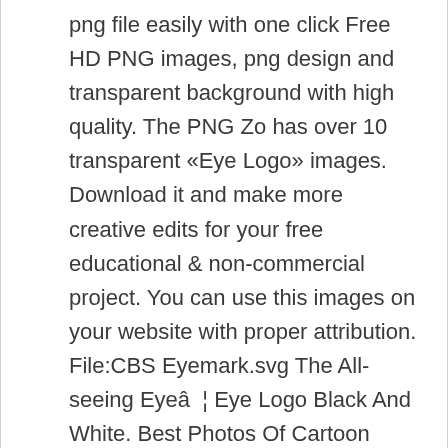png file easily with one click Free HD PNG images, png design and transparent background with high quality. The PNG Zo has over 10 transparent «Eye Logo» images. Download it and make more creative edits for your free educational & non-commercial project. You can use this images on your website with proper attribution. File:CBS Eyemark.svg The All-seeing Eyeâ¦ Eye Logo Black And White. Best Photos Of Cartoon Eyes Clip Art - Cartoon Eyes With Lashes. Pinterest. Download over 19,837 icons of eye in SVG, PSD, PNG, EPS format or as webfonts. Share. interior design logo readygolf eye ball marker hat clip logo queen logo paper clip logo 2017 eye art clip. Amaze your customers with an innovative animated logo. Share. Get free icons of Eye in iOS, Material, Windows and other design styles for web, mobile, and graphic design projects. License. This is